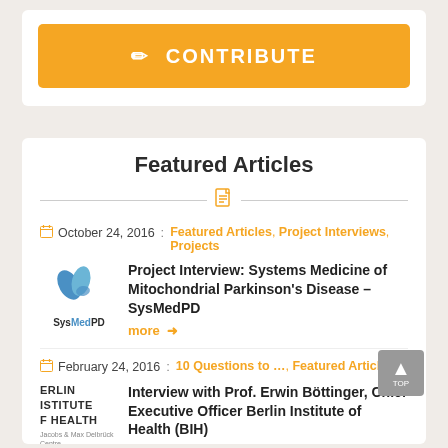CONTRIBUTE
Featured Articles
October 24, 2016 : Featured Articles, Project Interviews, Projects
Project Interview: Systems Medicine of Mitochondrial Parkinson's Disease – SysMedPD
more →
February 24, 2016 : 10 Questions to …, Featured Articles
Interview with Prof. Erwin Böttinger, Chief Executive Officer Berlin Institute of Health (BIH)
more →